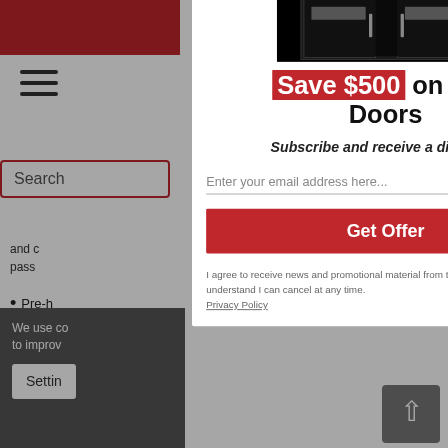[Figure (screenshot): Website background showing navigation with hamburger menu, search box, bullet list items partially visible, and dark cookie consent bar at bottom left]
Save $500 on Iron Doors
Subscribe and receive a discount!
Enter your email address here...
Get Offer
I agree to receive news and promotional material from this website and understand I can cancel at any time.
Privacy Policy